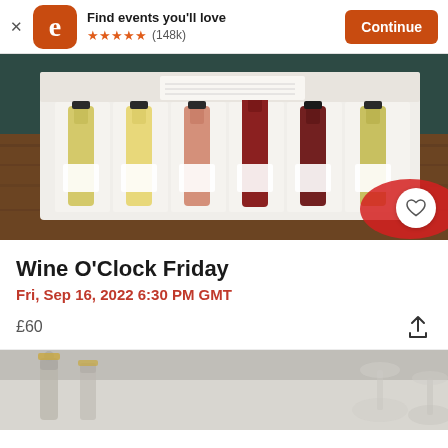[Figure (screenshot): Eventbrite app install banner with logo, star rating (148k reviews), and Continue button]
[Figure (photo): Photo of an open wine tasting kit box with multiple small wine bottles arranged in white compartments, on a wooden table with a red cloth and a card inside the box lid]
Wine O'Clock Friday
Fri, Sep 16, 2022 6:30 PM GMT
£60
[Figure (photo): Partial bottom image showing wine bottles and glasses on a light surface]